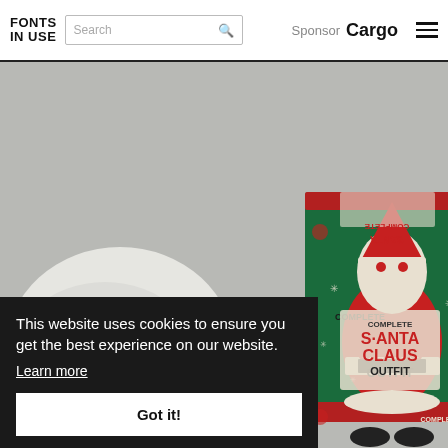FONTS IN USE | Search | Sponsor Cargo
[Figure (photo): A vintage Complete Santa Claus Outfit box with green, red and white design featuring a cartoon Santa Claus figure, along with a white Santa beard/wig item visible in the foreground on a gray background.]
This website uses cookies to ensure you get the best experience on our website.
Learn more
Got it!